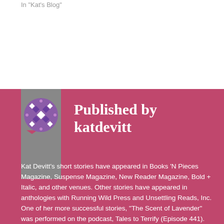In "Kat's Blog"
[Figure (illustration): Circular avatar with geometric flower/mosaic pattern in purple and white, on a grey bookmark ribbon background]
Published by katdevitt
Kat Devitt's short stories have appeared in Books 'N Pieces Magazine, Suspense Magazine, New Reader Magazine, Bold + Italic, and other venues. Other stories have appeared in anthologies with Running Wild Press and Unsettling Reads, Inc. One of her more successful stories, "The Scent of Lavender" was performed on the podcast, Tales to Terrify (Episode 441). She is also a Pushcart Prize nominee, Best of the Net nominee, and placed as a runner-up in OPQ Press's 2019 Spooky Samhain Contest. When Kat isn't writing a new